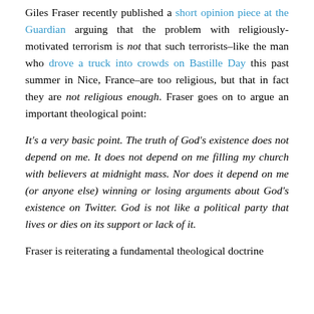Giles Fraser recently published a short opinion piece at the Guardian arguing that the problem with religiously-motivated terrorism is not that such terrorists–like the man who drove a truck into crowds on Bastille Day this past summer in Nice, France–are too religious, but that in fact they are not religious enough. Fraser goes on to argue an important theological point:
It's a very basic point. The truth of God's existence does not depend on me. It does not depend on me filling my church with believers at midnight mass. Nor does it depend on me (or anyone else) winning or losing arguments about God's existence on Twitter. God is not like a political party that lives or dies on its support or lack of it.
Fraser is reiterating a fundamental theological doctrine